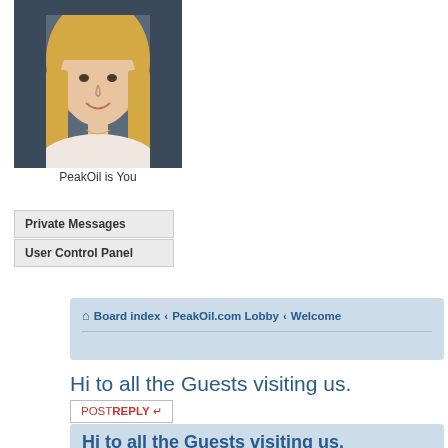[Figure (photo): Portrait photo of a blonde woman in a light pink top against a dark background]
PeakOil is You
Private Messages
User Control Panel
Board index ‹ PeakOil.com Lobby ‹ Welcome
Hi to all the Guests visiting us.
POST REPLY
Hi to all the Guests visiting us.